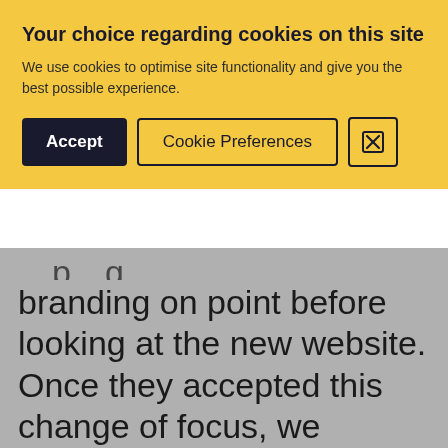Your choice regarding cookies on this site
We use cookies to optimise site functionality and give you the best possible experience.
Accept | Cookie Preferences | [X]
branding on point before looking at the new website. Once they accepted this change of focus, we helped them to refine their company rebranding before using this to inform the design of a fresh, modern website.